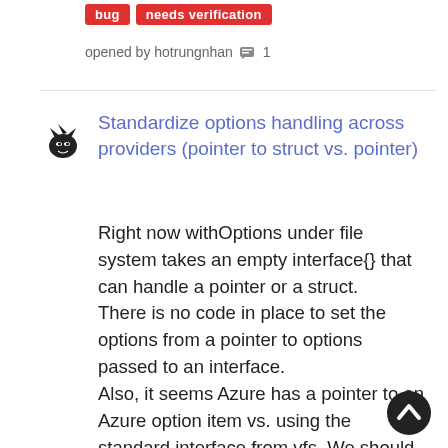[Figure (other): Two red tags labeled 'bug' and 'needs verification']
opened by hotrungnhan 💬 1
[Figure (photo): User avatar icon (small black illustration)]
Standardize options handling across providers (pointer to struct vs. pointer)
Right now withOptions under file system takes an empty interface{} that can handle a pointer or a struct. There is no code in place to set the options from a pointer to options passed to an interface. Also, it seems Azure has a pointer to an Azure option item vs. using the standard interface from vfs. We should look at